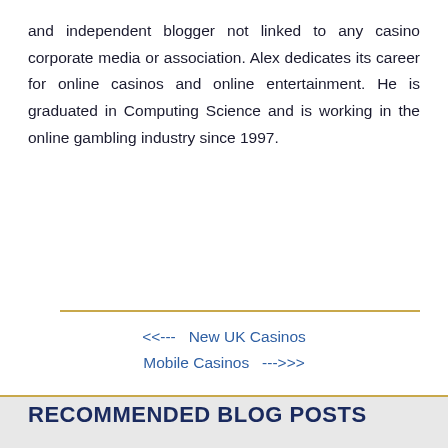and independent blogger not linked to any casino corporate media or association. Alex dedicates its career for online casinos and online entertainment. He is graduated in Computing Science and is working in the online gambling industry since 1997.
<<---  New UK Casinos
Mobile Casinos  --->>>
RECOMMENDED BLOG POSTS